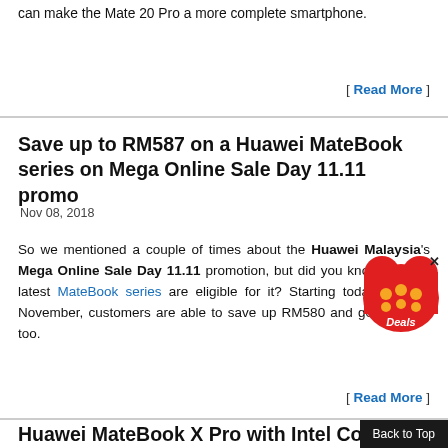can make the Mate 20 Pro a more complete smartphone.
[ Read More ]
Save up to RM587 on a Huawei MateBook series on Mega Online Sale Day 11.11 promo
Nov 08, 2018
So we mentioned a couple of times about the Huawei Malaysia's Mega Online Sale Day 11.11 promotion, but did you know that the latest MateBook series are eligible for it? Starting today until 10 November, customers are able to save up RM580 and get freebies too.
[ Read More ]
Huawei MateBook X Pro with Intel Cor...